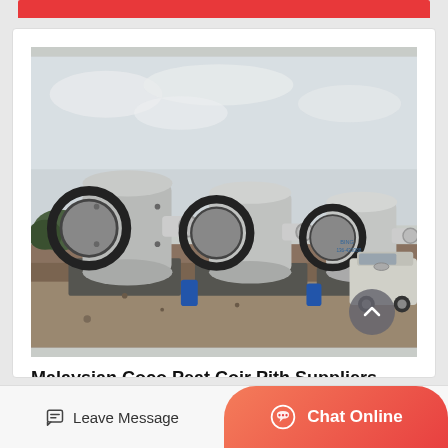[Figure (photo): Three large industrial ball mills (cylindrical grinding machines) mounted on concrete foundations outdoors on a dirt/gravel site. The machines are grey/white with large circular gear rings. A blue barrel is visible between two of the mills. A white SUV is parked to the right. Overcast sky in background with some green vegetation at far left.]
Malaysian Coco Peat Coir Pith Suppliers,
Leave Message
Chat Online